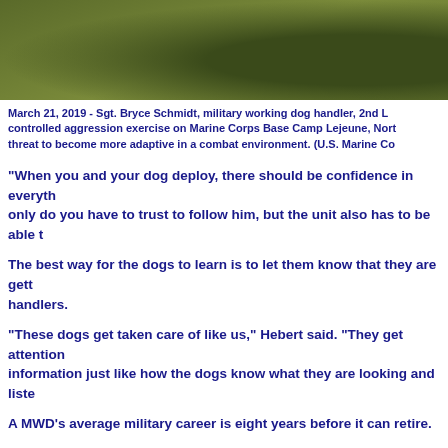[Figure (photo): Top portion of outdoor photo showing grass and ground, military working dog exercise scene]
March 21, 2019 - Sgt. Bryce Schmidt, military working dog handler, 2nd L... controlled aggression exercise on Marine Corps Base Camp Lejeune, Nort... threat to become more adaptive in a combat environment. (U.S. Marine Co...
“When you and your dog deploy, there should be confidence in everyth... only do you have to trust to follow him, but the unit also has to be able t...
The best way for the dogs to learn is to let them know that they are gett... handlers.
“These dogs get taken care of like us,” Hebert said. “They get attention... information just like how the dogs know what they are looking and liste...
A MWD’s average military career is eight years before it can retire.
“It just depends on the dog for when it retires,” Hebert said. “Most of t... puts a lot of strain on their bodies. Just like us, as the dogs get older the...
[Figure (photo): Bottom portion of outdoor photo, dark tones, military working dog scene]